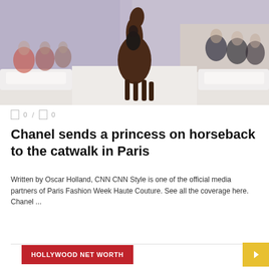[Figure (photo): A horse walking down a fashion show catwalk/runway with audience members seated on white benches on either side, in what appears to be a Chanel Paris Fashion Week Haute Couture show. The background has purple/blue tones.]
0 / 0
Chanel sends a princess on horseback to the catwalk in Paris
Written by Oscar Holland, CNN CNN Style is one of the official media partners of Paris Fashion Week Haute Couture. See all the coverage here. Chanel ...
READ MORE
HOLLYWOOD NET WORTH